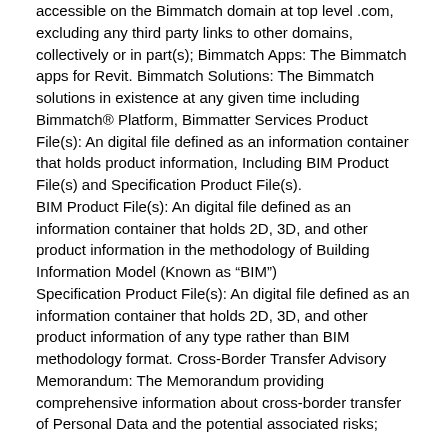accessible on the Bimmatch domain at top level .com, excluding any third party links to other domains, collectively or in part(s); Bimmatch Apps: The Bimmatch apps for Revit. Bimmatch Solutions: The Bimmatch solutions in existence at any given time including Bimmatch® Platform, Bimmatter Services Product File(s): An digital file defined as an information container that holds product information, Including BIM Product File(s) and Specification Product File(s). BIM Product File(s): An digital file defined as an information container that holds 2D, 3D, and other product information in the methodology of Building Information Model (Known as “BIM”) Specification Product File(s): An digital file defined as an information container that holds 2D, 3D, and other product information of any type rather than BIM methodology format. Cross-Border Transfer Advisory Memorandum: The Memorandum providing comprehensive information about cross-border transfer of Personal Data and the potential associated risks;